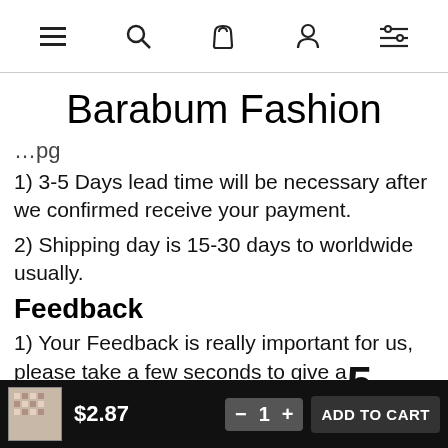≡  🔍  🛍  👤  🎚
Barabum Fashion
...pg
1) 3-5 Days lead time will be necessary after we confirmed receive your payment.
2) Shipping day is 15-30 days to worldwide usually.
Feedback
1) Your Feedback is really important for us, please take a few seconds to give a 5 Stars feedback if you are satisfied with our products and services, thank you very much !!
$2.87   − 1 +   ADD TO CART